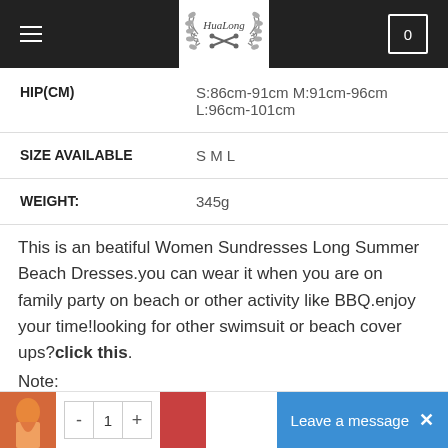HuaLong — navigation header with hamburger menu and cart
| Attribute | Value |
| --- | --- |
| HIP(CM) | S:86cm-91cm M:91cm-96cm L:96cm-101cm |
| SIZE AVAILABLE | S M L |
| WEIGHT: | 345g |
This is an beatiful Women Sundresses Long Summer Beach Dresses.you can wear it when you are on family party on beach or other activity like BBQ.enjoy your time!looking for other swimsuit or beach cover ups?click this.
Note:
1. There maybe 1-2 cm deviation in different sizes, locations and stretch of fabrics. Size chart is for reference only, there may be a little...